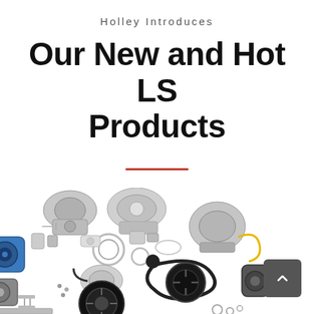Holley Introduces
Our New and Hot LS Products
[Figure (photo): Exploded view of LS engine accessory drive components including water pump, alternator, power steering pump, pulleys, serpentine belts, brackets, bolts, and other hardware laid out on a white background.]